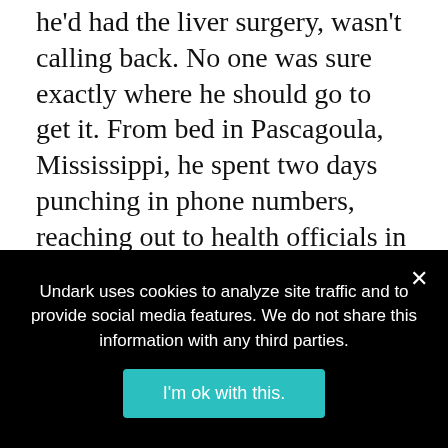he'd had the liver surgery, wasn't calling back. No one was sure exactly where he should go to get it. From bed in Pascagoula, Mississippi, he spent two days punching in phone numbers, reaching out to health officials in four states, before he finally landed an appointment to receive a treatment aimed at keeping patients like him out of the hospital — and, perhaps, the morgue.
“I am not rich, I am not special, I am not a political
Undark uses cookies to analyze site traffic and to provide social media features. We do not share this information with any third parties.